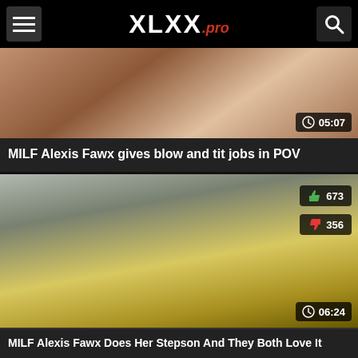XLXX.pro
[Figure (screenshot): Video thumbnail for MILF Alexis Fawx gives blow and tit jobs in POV, duration 05:07]
MILF Alexis Fawx gives blow and tit jobs in POV
[Figure (screenshot): Video thumbnail for MILF Alexis Fawx Does Her Stepson And They Both Love It, likes 673, dislikes 356, duration 06:24]
MILF Alexis Fawx Does Her Stepson And They Both Love It